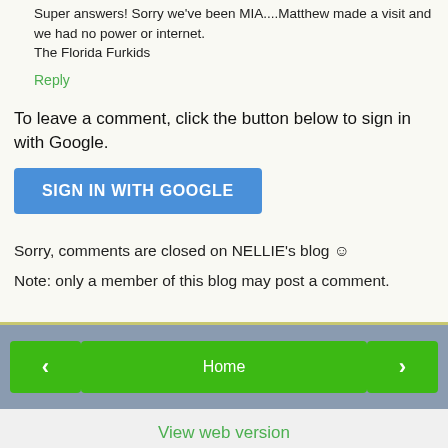Super answers! Sorry we've been MIA....Matthew made a visit and we had no power or internet.
The Florida Furkids
Reply
To leave a comment, click the button below to sign in with Google.
SIGN IN WITH GOOGLE
Sorry, comments are closed on NELLIE's blog ☺
Note: only a member of this blog may post a comment.
‹
Home
›
View web version
Powered by Blogger.